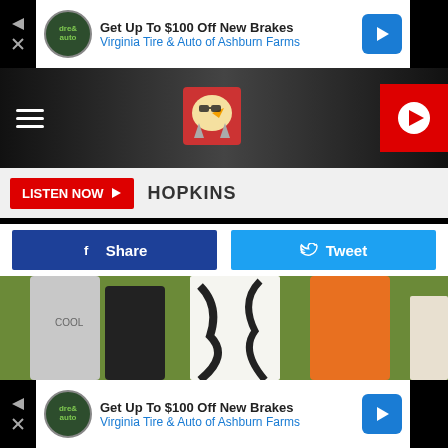[Figure (screenshot): Top advertisement banner: 'Get Up To $100 Off New Brakes Virginia Tire & Auto of Ashburn Farms' with Dre & Auto logo and blue arrow box]
[Figure (screenshot): Navigation bar with hamburger menu, bird mascot logo center, and red play button right]
[Figure (screenshot): Listen Now button with HOPKINS label]
[Figure (screenshot): Facebook Share and Twitter Tweet buttons]
[Figure (photo): Outdoor photo of children standing with a bird mascot costume on grass]
[Figure (screenshot): Bottom advertisement banner: 'Get Up To $100 Off New Brakes Virginia Tire & Auto of Ashburn Farms' with Dre & Auto logo and blue arrow box]